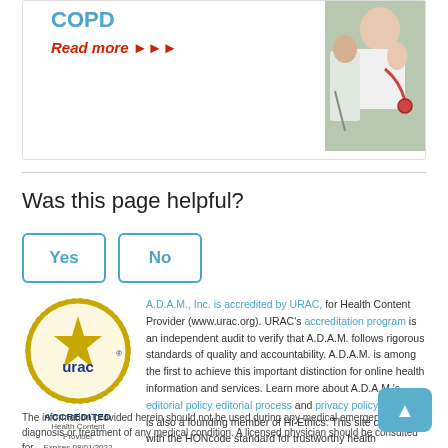COPD
Read more ▶▶▶
[Figure (photo): Doctor examining a patient with a stethoscope]
Was this page helpful?
Yes
No
[Figure (logo): URAC Accredited Health Content Provider logo, Expires 08/01/2022]
A.D.A.M., Inc. is accredited by URAC, for Health Content Provider (www.urac.org). URAC's accreditation program is an independent audit to verify that A.D.A.M. follows rigorous standards of quality and accountability. A.D.A.M. is among the first to achieve this important distinction for online health information and services. Learn more about A.D.A.M.'s editorial policy editorial process and privacy policy. A.D.A.M. is also a founding member of Hi-Ethics. This site complies with the HONcode standard for trustworthy health information: verify here.
The information provided herein should not be used during any medical emergency or for diagnosis or treatment of any medical condition. A licensed physician should be consulted for